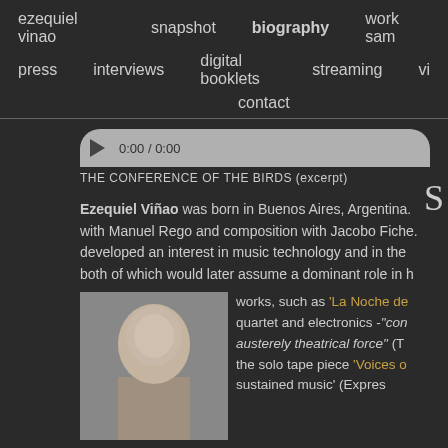ezequiel vinao   snapshot   biography   work sam   press   interviews   digital booklets   streaming   vi   contact
[Figure (other): Audio player bar (gray rounded rectangle) with play button triangle and timecode 0:00 / 0:00, partially visible]
THE CONFERENCE OF THE BIRDS (excerpt)
Ezequiel Viñao was born in Buenos Aires, Argentina. with Manuel Rego and composition with Jacobo Fiche. developed an interest in music technology and in the both of which would later assume a dominant role in h
works, such as 'La Noche de quartet and electronics -"con austerely theatrical force" (T the solo tape piece 'Voices o sustained music' (Expres